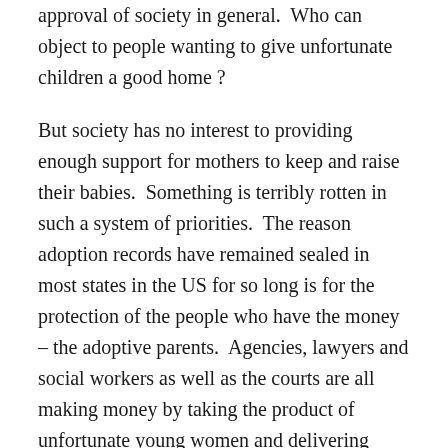Adoption is a kind of human trafficking that has the approval of society in general. Who can object to people wanting to give unfortunate children a good home ?
But society has no interest to providing enough support for mothers to keep and raise their babies. Something is terribly rotten in such a system of priorities. The reason adoption records have remained sealed in most states in the US for so long is for the protection of the people who have the money – the adoptive parents. Agencies, lawyers and social workers as well as the courts are all making money by taking the product of unfortunate young women and delivering babies to those who can afford to pay.
It was not lost on me in the recent NY Times article that